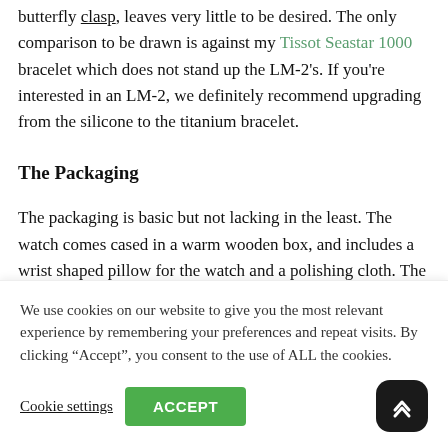butterfly clasp, leaves very little to be desired. The only comparison to be drawn is against my Tissot Seastar 1000 bracelet which does not stand up the LM-2's. If you're interested in an LM-2, we definitely recommend upgrading from the silicone to the titanium bracelet.
The Packaging
The packaging is basic but not lacking in the least. The watch comes cased in a warm wooden box, and includes a wrist shaped pillow for the watch and a polishing cloth. The packaging is basic, but very tasteful and more than sufficient, especially considering
We use cookies on our website to give you the most relevant experience by remembering your preferences and repeat visits. By clicking “Accept”, you consent to the use of ALL the cookies.
Cookie settings  ACCEPT